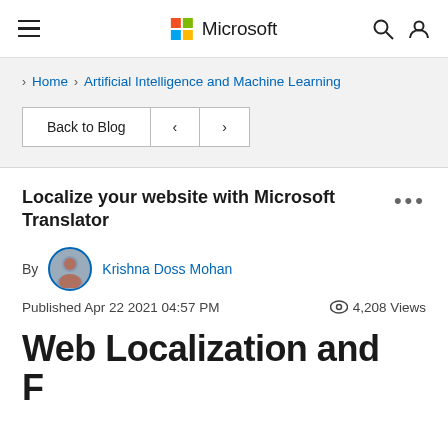Microsoft
Home › Artificial Intelligence and Machine Learning
Back to Blog  <  >
Localize your website with Microsoft Translator
By Krishna Doss Mohan
Published Apr 22 2021 04:57 PM   4,208 Views
Web Localization and F…